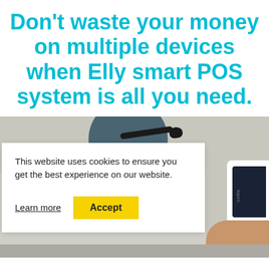Don't waste your money on multiple devices when Elly smart POS system is all you need.
[Figure (screenshot): A screenshot of a website showing a cookie consent banner overlay on top of a product lifestyle photo. The background shows a dark plate with a spoon on a light stone surface and a hand holding a white POS device. The cookie banner reads: 'This website uses cookies to ensure you get the best experience on our website.' with a 'Learn more' link and a yellow 'Accept' button.]